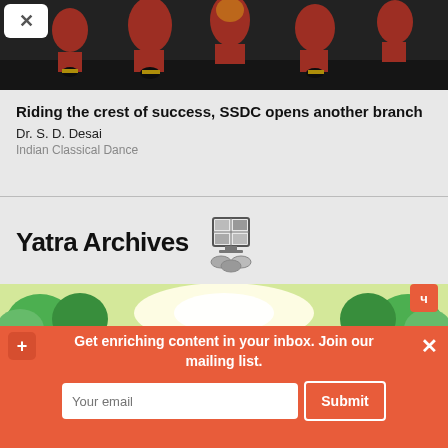[Figure (photo): Dancers in red traditional costumes on a dark stage, barefoot, multiple figures visible]
Riding the crest of success, SSDC opens another branch
Dr. S. D. Desai
Indian Classical Dance
Yatra Archives
[Figure (illustration): Illustrated landscape with green trees and bright light in the center]
Get enriching content in your inbox.  Join our mailing list.